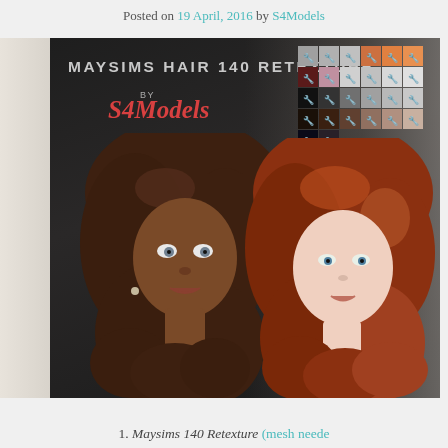Posted on 19 April, 2016 by S4Models
[Figure (illustration): Promotional image for Maysims Hair 140 Retexture by S4Models. Shows two Sims characters with long wavy hair — one with dark brown hair on a dark background (left), one with auburn/red hair on a lighter background (right). Title text 'MAYSIMS HAIR 140 RETEXTURE BY S4Models' overlaid on the image. A grid of color swatches is visible in the upper right corner of the image.]
1. Maysims 140 Retexture (mesh neede